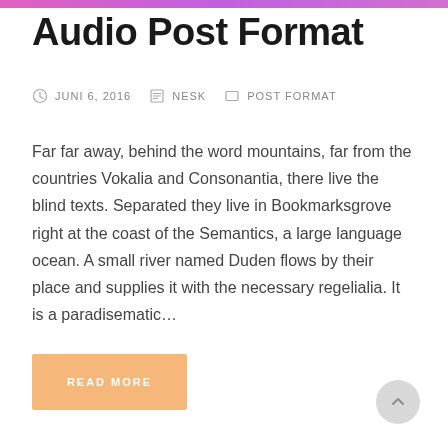Audio Post Format
JUNI 6, 2016   NESK   POST FORMAT
Far far away, behind the word mountains, far from the countries Vokalia and Consonantia, there live the blind texts. Separated they live in Bookmarksgrove right at the coast of the Semantics, a large language ocean. A small river named Duden flows by their place and supplies it with the necessary regelialia. It is a paradisematic…
READ MORE